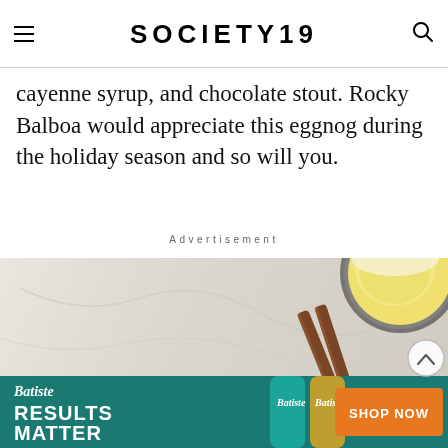SOCIETY19
cayenne syrup, and chocolate stout. Rocky Balboa would appreciate this eggnog during the holiday season and so will you.
Advertisement
[Figure (photo): Overhead photo of eggnog drink in a glass with cinnamon sticks on a marble surface, with a Batiste hair products advertisement banner overlay reading 'RESULTS MATTER' and 'SHOP NOW']